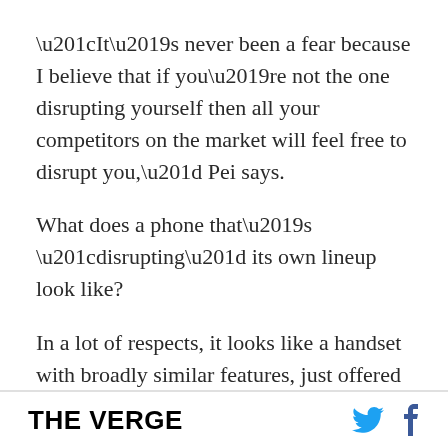“It’s never been a fear because I believe that if you’re not the one disrupting yourself then all your competitors on the market will feel free to disrupt you,” Pei says.
What does a phone that’s “disrupting” its own lineup look like?
In a lot of respects, it looks like a handset with broadly similar features, just offered with slightly lower specs. The Nord’s screen is a great example. It’s still got a 90Hz refresh rate, it’s still OLED, and it’s still 1080p, but it’s also a little bit smaller at 6.44-inches and it doesn’t curve round the edges of the
THE VERGE